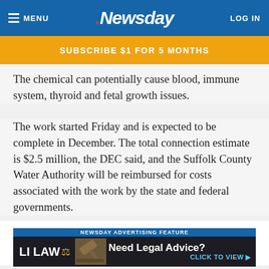≡ MENU  .Newsday  LOG IN
SUBSCRIBE $1 FOR 5 MONTHS
The chemical can potentially cause blood, immune system, thyroid and fetal growth issues.
The work started Friday and is expected to be complete in December. The total connection estimate is $2.5 million, the DEC said, and the Suffolk County Water Authority will be reimbursed for costs associated with the work by the state and federal governments.
Sign up for the Suffolk news this week newsletter
The biggest stories in your inbox, including updates in Suffolk...
[Figure (screenshot): LI LAW advertising banner: 'NEWSDAY ADVERTISING FEATURE' header, LI LAW logo with gavel image, 'Need Legal Advice? CLICK TO VIEW ▶']